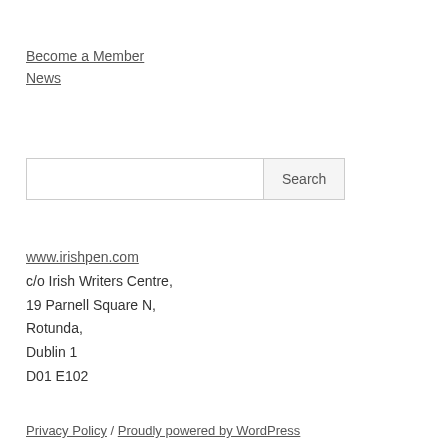Become a Member
News
Search box with Search button
www.irishpen.com
c/o Irish Writers Centre,
19 Parnell Square N,
Rotunda,
Dublin 1
D01 E102
Privacy Policy / Proudly powered by WordPress